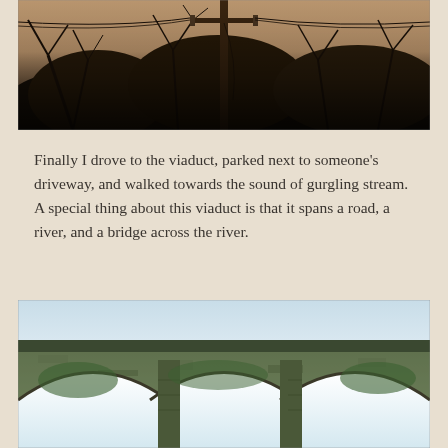[Figure (photo): Black and white / sepia toned photograph of bare winter trees with tangled branches, a telephone/utility pole in the center foreground, and a pinkish-grey sky visible through the branches. Low light, dusk atmosphere.]
Finally I drove to the viaduct, parked next to someone's driveway, and walked towards the sound of gurgling stream. A special thing about this viaduct is that it spans a road, a river, and a bridge across the river.
[Figure (photo): Photograph of a stone railway viaduct with three large arches visible. The stonework is covered in green moss and ivy. The sky above is pale blue. The arches frame bright white light below.]